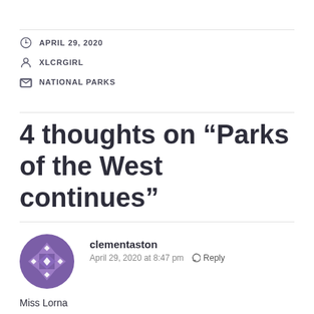APRIL 29, 2020
XLCRGIRL
NATIONAL PARKS
4 thoughts on “Parks of the West continues”
[Figure (illustration): Purple geometric avatar icon for user clementaston]
clementaston
April 29, 2020 at 8:47 pm  Reply
Miss Lorna